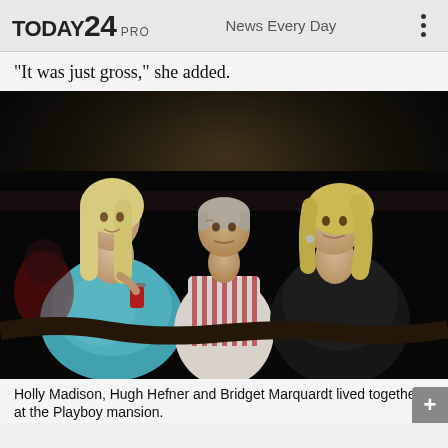TODAY24 PRO  News Every Day
"It was just gross," she added.
[Figure (photo): Three people seated together at what appears to be a nightclub or party. A blonde woman in a teal/blue strapless dress holding a red drink on the left, an older man in a striped red and white shirt in the center, and a second blonde woman in a black dress on the right.]
Holly Madison, Hugh Hefner and Bridget Marquardt lived together at the Playboy mansion.